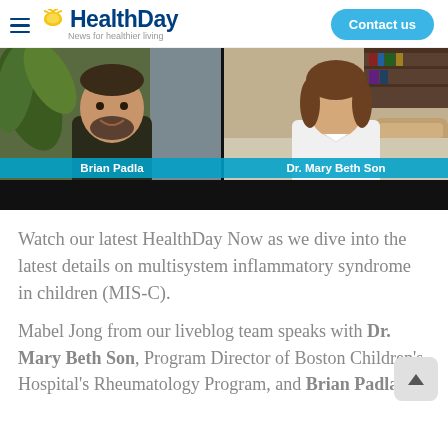HealthDay — News for healthier living | Contact us
[Figure (screenshot): Split-screen video thumbnail showing two people: Brian Padla on the left (bearded man smiling, with plants in background) and Dr. Mary Beth Son on the right (woman in white jacket, with bookshelf in background). Each name appears in a cyan label bar at the bottom of their respective panel.]
Watch our latest HealthDay Now as we dive into the latest details on multisystem inflammatory syndrome in children (MIS-C).
Mabel Jong from our liveblog team speaks with Dr. Mary Beth Son, Program Director of Boston Children's Hospital's Rheumatology Program, and Brian Padla,